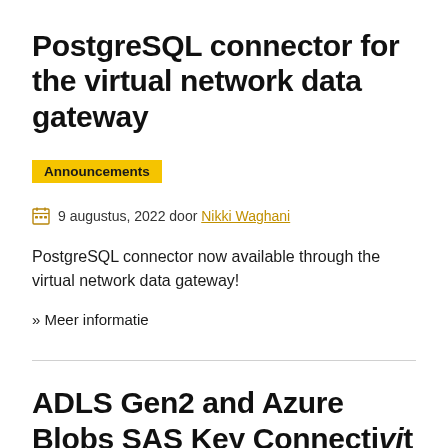PostgreSQL connector for the virtual network data gateway
Announcements
9 augustus, 2022 door Nikki Waghani
PostgreSQL connector now available through the virtual network data gateway!
» Meer informatie
ADLS Gen2 and Azure Blobs SAS Key Connectivity